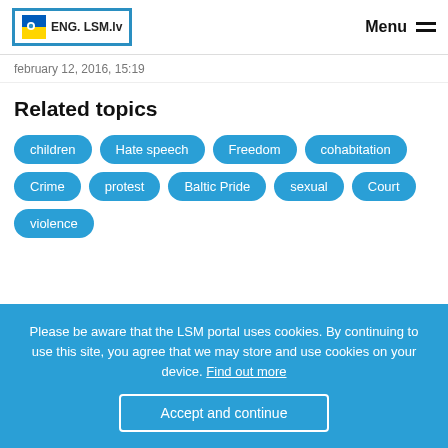ENG. LSM.lv — Menu
february 12, 2016, 15:19
Related topics
children
Hate speech
Freedom
cohabitation
Crime
protest
Baltic Pride
sexual
Court
violence
Please be aware that the LSM portal uses cookies. By continuing to use this site, you agree that we may store and use cookies on your device. Find out more
Accept and continue